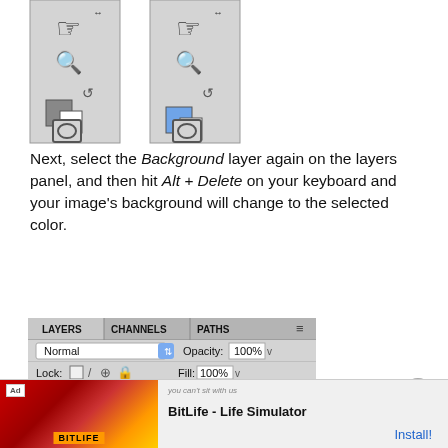[Figure (screenshot): Two Photoshop toolbars side by side showing hand tool, zoom tool, color reset arrows, default color squares (gray on left, blue on right), and quick mask icon]
Next, select the Background layer again on the layers panel, and then hit Alt + Delete on your keyboard and your image's background will change to the selected color.
[Figure (screenshot): Photoshop Layers panel showing Normal blend mode at 100% opacity, Lock options, Fill 100%, Layer 1 with transparency thumbnail, and Background layer with yellow-green fill highlighted]
[Figure (screenshot): Advertisement banner for BitLife - Life Simulator with Install button]